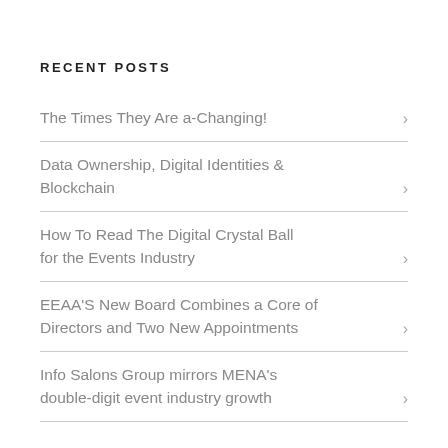RECENT POSTS
The Times They Are a-Changing!
Data Ownership, Digital Identities & Blockchain
How To Read The Digital Crystal Ball for the Events Industry
EEAA'S New Board Combines a Core of Directors and Two New Appointments
Info Salons Group mirrors MENA's double-digit event industry growth
RECENT COMMENTS